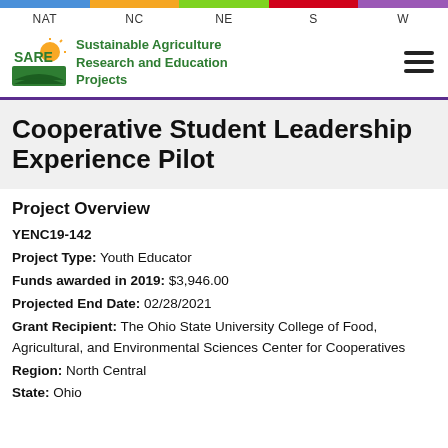NAT   NC   NE   S   W
[Figure (logo): SARE logo with sun and green field, alongside text: Sustainable Agriculture Research and Education Projects]
Cooperative Student Leadership Experience Pilot
Project Overview
YENC19-142
Project Type: Youth Educator
Funds awarded in 2019: $3,946.00
Projected End Date: 02/28/2021
Grant Recipient: The Ohio State University College of Food, Agricultural, and Environmental Sciences Center for Cooperatives
Region: North Central
State: Ohio